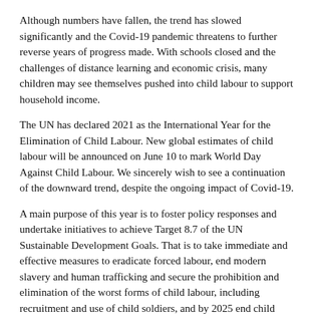Although numbers have fallen, the trend has slowed significantly and the Covid-19 pandemic threatens to further reverse years of progress made. With schools closed and the challenges of distance learning and economic crisis, many children may see themselves pushed into child labour to support household income.
The UN has declared 2021 as the International Year for the Elimination of Child Labour. New global estimates of child labour will be announced on June 10 to mark World Day Against Child Labour. We sincerely wish to see a continuation of the downward trend, despite the ongoing impact of Covid-19.
A main purpose of this year is to foster policy responses and undertake initiatives to achieve Target 8.7 of the UN Sustainable Development Goals. That is to take immediate and effective measures to eradicate forced labour, end modern slavery and human trafficking and secure the prohibition and elimination of the worst forms of child labour, including recruitment and use of child soldiers, and by 2025 end child labour in all its forms”.
At the global launch of the International Year in January 2021,